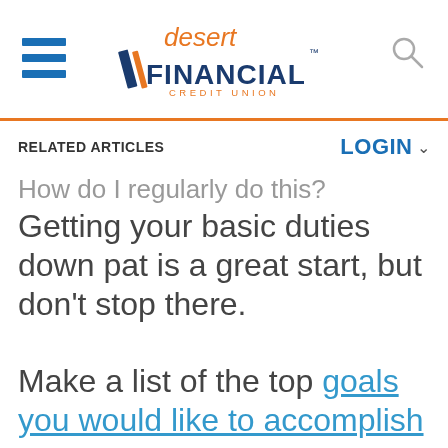[Figure (logo): Desert Financial Credit Union logo with hamburger menu and search icon]
RELATED ARTICLES
LOGIN
How do I regularly do this?
Getting your basic duties down pat is a great start, but don't stop there.
Make a list of the top goals you would like to accomplish